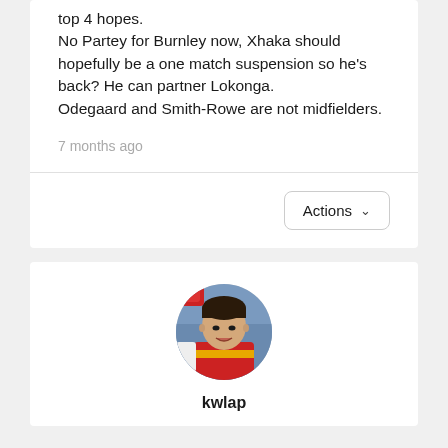top 4 hopes.
No Partey for Burnley now, Xhaka should hopefully be a one match suspension so he's back? He can partner Lokonga.
Odegaard and Smith-Rowe are not midfielders.
7 months ago
Actions
[Figure (photo): Circular profile photo of a football player in a red and yellow jersey, looking upward with mouth open.]
kwlap